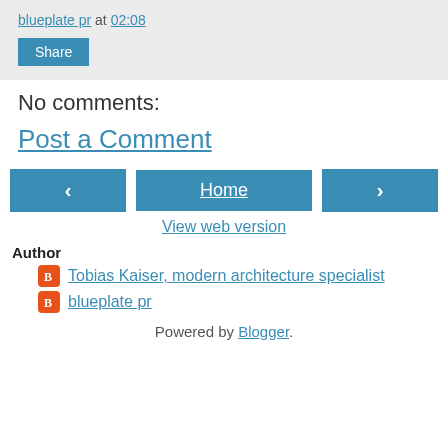blueplate pr at 02:08  Share
No comments:
Post a Comment
< Home >
View web version
Author
Tobias Kaiser, modern architecture specialist
blueplate pr
Powered by Blogger.